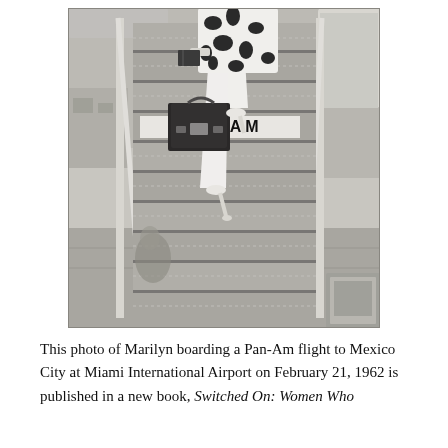[Figure (photo): Black and white photograph of a woman (Marilyn Monroe) climbing the stairs to board a Pan-Am aircraft. She is wearing white pants and a black-and-white patterned top, carrying a hard-sided suitcase. The Pan-Am logo is visible on the aircraft fuselage. Airport tarmac and buildings are visible in the background.]
This photo of Marilyn boarding a Pan-Am flight to Mexico City at Miami International Airport on February 21, 1962 is published in a new book, Switched On: Women Who